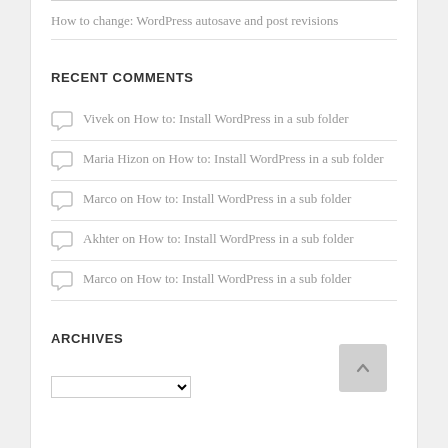How to change: WordPress autosave and post revisions
RECENT COMMENTS
Vivek on How to: Install WordPress in a sub folder
Maria Hizon on How to: Install WordPress in a sub folder
Marco on How to: Install WordPress in a sub folder
Akhter on How to: Install WordPress in a sub folder
Marco on How to: Install WordPress in a sub folder
ARCHIVES